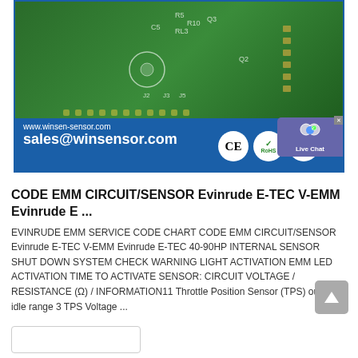[Figure (photo): Green PCB circuit board photo with blue banner showing www.winsen-sensor.com and sales@winsensor.com, with CE, RoHS, and ISO 9001:2008 certification badges]
CODE EMM CIRCUIT/SENSOR Evinrude E-TEC V-EMM Evinrude E ...
EVINRUDE EMM SERVICE CODE CHART CODE EMM CIRCUIT/SENSOR Evinrude E-TEC V-EMM Evinrude E-TEC 40-90HP INTERNAL SENSOR SHUT DOWN SYSTEM CHECK WARNING LIGHT ACTIVATION EMM LED ACTIVATION TIME TO ACTIVATE SENSOR: CIRCUIT VOLTAGE / RESISTANCE (Ω) / INFORMATION11 Throttle Position Sensor (TPS) out of idle range 3 TPS Voltage ...